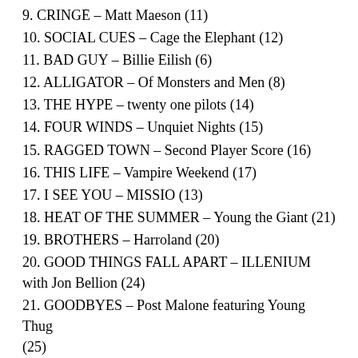9. CRINGE – Matt Maeson (11)
10. SOCIAL CUES – Cage the Elephant (12)
11. BAD GUY – Billie Eilish (6)
12. ALLIGATOR – Of Monsters and Men (8)
13. THE HYPE – twenty one pilots (14)
14. FOUR WINDS – Unquiet Nights (15)
15. RAGGED TOWN – Second Player Score (16)
16. THIS LIFE – Vampire Weekend (17)
17. I SEE YOU – MISSIO (13)
18. HEAT OF THE SUMMER – Young the Giant (21)
19. BROTHERS – Harroland (20)
20. GOOD THINGS FALL APART – ILLENIUM with Jon Bellion (24)
21. GOODBYES – Post Malone featuring Young Thug (25)